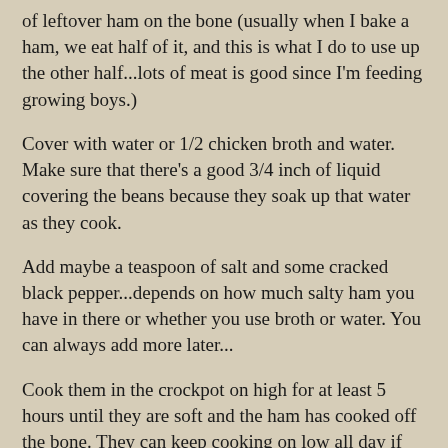of leftover ham on the bone (usually when I bake a ham, we eat half of it, and this is what I do to use up the other half...lots of meat is good since I'm feeding growing boys.)
Cover with water or 1/2 chicken broth and water. Make sure that there's a good 3/4 inch of liquid covering the beans because they soak up that water as they cook.
Add maybe a teaspoon of salt and some cracked black pepper...depends on how much salty ham you have in there or whether you use broth or water. You can always add more later...
Cook them in the crockpot on high for at least 5 hours until they are soft and the ham has cooked off the bone. They can keep cooking on low all day if need be, but don't let them cook dry! Add more water if needed..you want some liquid there even at the end.
Take out the bone and any fat pieces, leaving just the chunks of meat.
Mix up the...